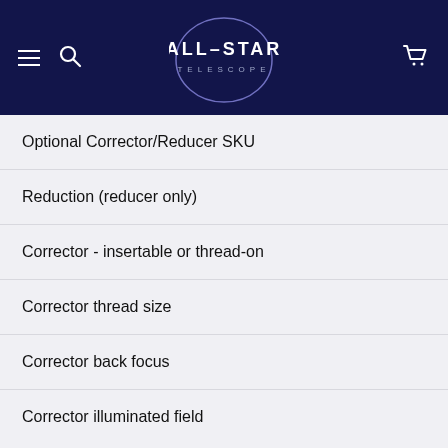[Figure (logo): All-Star Telescope logo with circular arc, hamburger menu icon, search icon, and cart icon on dark navy background]
Optional Corrector/Reducer SKU
Reduction (reducer only)
Corrector - insertable or thread-on
Corrector thread size
Corrector back focus
Corrector illuminated field